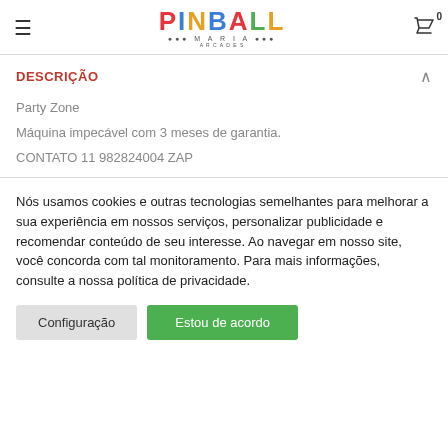Pinball Mania — navigation header with logo and cart icon
DESCRIÇÃO
Party Zone
Máquina impecável com 3 meses de garantia.
CONTATO 11 982824004 ZAP
Nós usamos cookies e outras tecnologias semelhantes para melhorar a sua experiência em nossos serviços, personalizar publicidade e recomendar conteúdo de seu interesse. Ao navegar em nosso site, você concorda com tal monitoramento. Para mais informações, consulte a nossa política de privacidade.